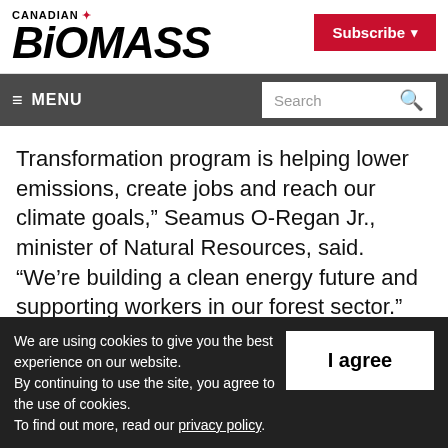CANADIAN BIOMASS
Subscribe
≡ MENU  Search
Transformation program is helping lower emissions, create jobs and reach our climate goals,” Seamus O-Regan Jr., minister of Natural Resources, said. “We’re building a clean energy future and supporting workers in our forest sector.”
We are using cookies to give you the best experience on our website. By continuing to use the site, you agree to the use of cookies. To find out more, read our privacy policy.
I agree